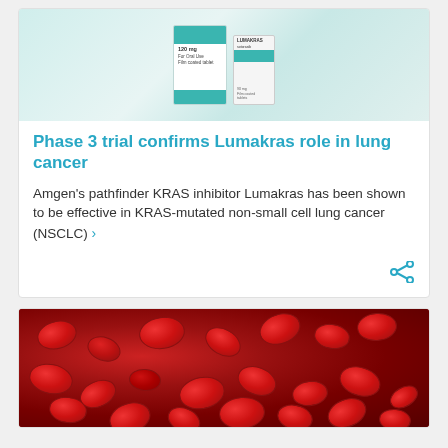[Figure (photo): Lumakras drug packaging — a teal/white medicine box and bottle on grey background]
Phase 3 trial confirms Lumakras role in lung cancer
Amgen's pathfinder KRAS inhibitor Lumakras has been shown to be effective in KRAS-mutated non-small cell lung cancer (NSCLC)  ›
[Figure (photo): Close-up photograph of red blood cells flowing in a blood vessel, red and dark background]